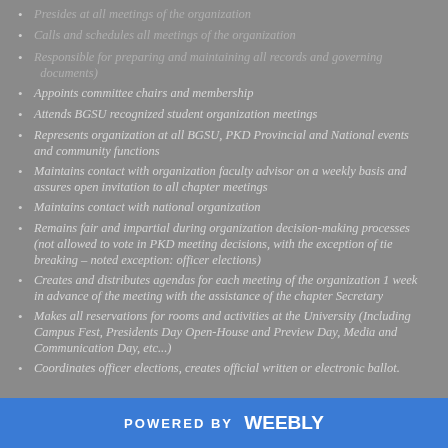Presides at all meetings of the organization
Calls and schedules all meetings of the organization
Responsible for preparing and maintaining all records and governing documents)
Appoints committee chairs and membership
Attends BGSU recognized student organization meetings
Represents organization at all BGSU, PKD Provincial and National events and community functions
Maintains contact with organization faculty advisor on a weekly basis and assures open invitation to all chapter meetings
Maintains contact with national organization
Remains fair and impartial during organization decision-making processes (not allowed to vote in PKD meeting decisions, with the exception of tie breaking – noted exception: officer elections)
Creates and distributes agendas for each meeting of the organization 1 week in advance of the meeting with the assistance of the chapter Secretary
Makes all reservations for rooms and activities at the University (Including Campus Fest, Presidents Day Open-House and Preview Day, Media and Communication Day, etc...)
Coordinates officer elections, creates official written or electronic ballot.
POWERED BY weebly